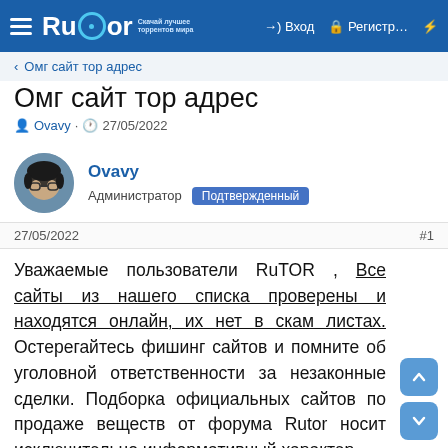Rutor — Вход — Регистр…
< Омг сайт тор адрес
Омг сайт тор адрес
Ovavy · 27/05/2022
Ovavy
Администратор  Подтвержденный
27/05/2022  #1
Уважаемые пользователи RuTOR , Все сайты из нашего списка проверены и находятся онлайн, их нет в скам листах. Остерегайтесь фишинг сайтов и помните об уголовной ответственности за незаконные сделки. Подборка официальных сайтов по продаже веществ от форума Rutor носит исключительно информативный характер.